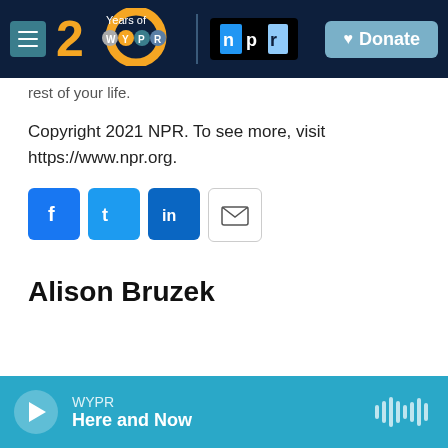[Figure (logo): WYPR 20 Years of WYPR and NPR logo navigation bar with Donate button]
rest of your life.
Copyright 2021 NPR. To see more, visit https://www.npr.org.
[Figure (infographic): Social share icons: Facebook, Twitter, LinkedIn, Email]
Alison Bruzek
WYPR Here and Now